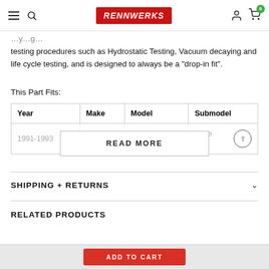RennWerks
testing procedures such as Hydrostatic Testing, Vacuum decaying and life cycle testing, and is designed to always be a "drop-in fit".
This Part Fits:
| Year | Make | Model | Submodel |
| --- | --- | --- | --- |
| 1991-1993 | Jeep | Cherokee | Base |
SHIPPING + RETURNS
RELATED PRODUCTS